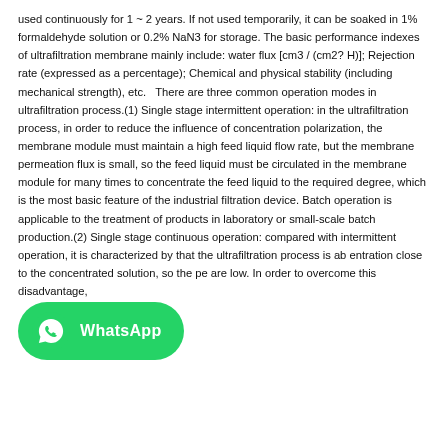used continuously for 1 ~ 2 years. If not used temporarily, it can be soaked in 1% formaldehyde solution or 0.2% NaN3 for storage. The basic performance indexes of ultrafiltration membrane mainly include: water flux [cm3 / (cm2? H)]; Rejection rate (expressed as a percentage); Chemical and physical stability (including mechanical strength), etc.   There are three common operation modes in ultrafiltration process.(1) Single stage intermittent operation: in the ultrafiltration process, in order to reduce the influence of concentration polarization, the membrane module must maintain a high feed liquid flow rate, but the membrane permeation flux is small, so the feed liquid must be circulated in the membrane module for many times to concentrate the feed liquid to the required degree, which is the most basic feature of the industrial filtration device. Batch operation is applicable to the treatment of products in laboratory or small-scale batch production.(2) Single stage continuous operation: compared with intermittent operation, it is characterized by that the ultrafiltration process is ab entration close to the concentrated solution, so the pe are low. In order to overcome this disadvantage, multi stage operation are recommended.(3) Multi stage operation...
[Figure (logo): WhatsApp green rounded button with WhatsApp logo icon and 'WhatsApp' text label in white]